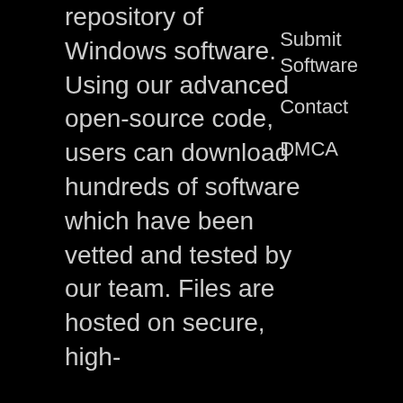repository of Windows software. Using our advanced open-source code, users can download hundreds of software which have been vetted and tested by our team. Files are hosted on secure, high-
Submit Software
Contact
DMCA